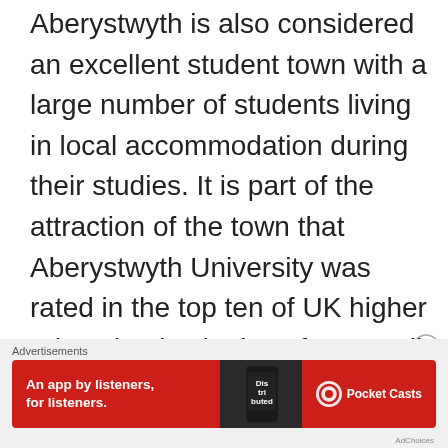Aberystwyth is also considered an excellent student town with a large number of students living in local accommodation during their studies. It is part of the attraction of the town that Aberystwyth University was rated in the top ten of UK higher education institutions for overall student satisfaction in the 2016 National Student Survey (NSS), with overall satisfaction amongst students at Aberystwyth standing at 92%.
Advertisements
[Figure (other): Red advertisement banner for Pocket Casts app reading 'An app by listeners, for listeners.' with a phone image showing 'Distributed' text and the Pocket Casts logo]